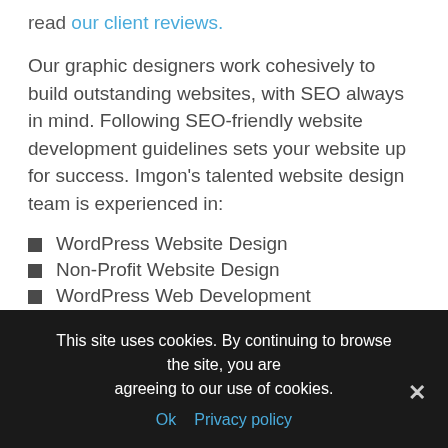read our client reviews.
Our graphic designers work cohesively to build outstanding websites, with SEO always in mind. Following SEO-friendly website development guidelines sets your website up for success. Imgon's talented website design team is experienced in:
WordPress Website Design
Non-Profit Website Design
WordPress Web Development
Ecommerce Website Desig
This week's promotion:  Qualiform rubber molder • plastic designer • large part molding • graphic design companies • marketing agency • website
This site uses cookies. By continuing to browse the site, you are agreeing to our use of cookies. Ok  Privacy policy